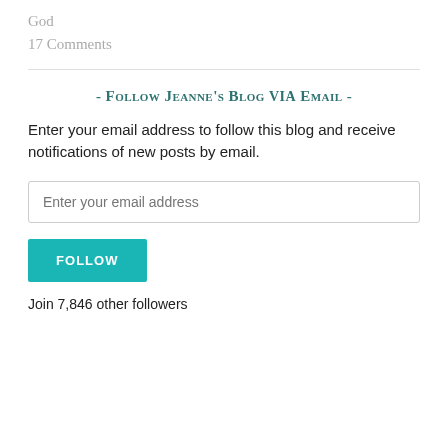God
17 Comments
- Follow Jeanne's Blog via Email -
Enter your email address to follow this blog and receive notifications of new posts by email.
Join 7,846 other followers